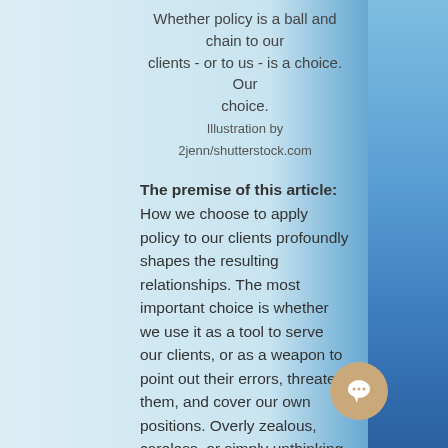Whether policy is a ball and chain to our clients - or to us - is a choice. Our choice.
Illustration by 2jenn/shutterstock.com
The premise of this article: How we choose to apply policy to our clients profoundly shapes the resulting relationships. The most important choice is whether we use it as a tool to serve our clients, or as a weapon to point out their errors, threaten them, and cover our own positions. Overly zealous, careless, or simply unthinking applications of policy are a primary reason provider-client relationships are stressed and unproductive. So change it.